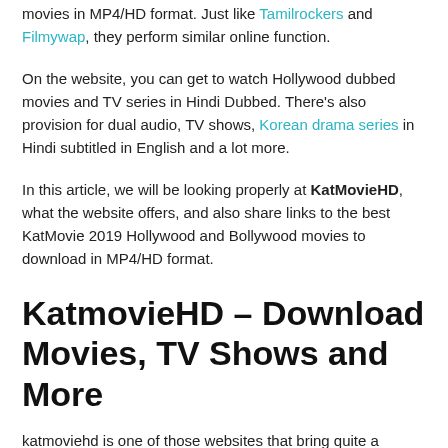movies in MP4/HD format. Just like Tamilrockers and Filmywap, they perform similar online function.
On the website, you can get to watch Hollywood dubbed movies and TV series in Hindi Dubbed. There's also provision for dual audio, TV shows, Korean drama series in Hindi subtitled in English and a lot more.
In this article, we will be looking properly at KatMovieHD, what the website offers, and also share links to the best KatMovie 2019 Hollywood and Bollywood movies to download in MP4/HD format.
KatmovieHD – Download Movies, TV Shows and More
katmoviehd is one of those websites that bring quite a